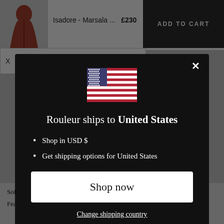Isadore - Marsala ...   £230
ADD TO CART
[Figure (illustration): US flag emoji/illustration]
Rouleur ships to United States
Shop in USD $
Get shipping options for United States
Shop now
Change shipping country
Soft brushed lining inside the collar.
Features two front and two side vent zippers for adding